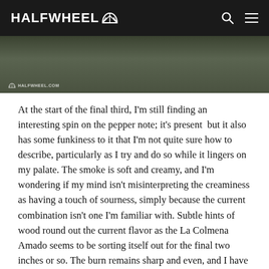HALFWHEEL
[Figure (photo): Close-up photo of a cigar being smoked against a dark green background, with halfwheel.com watermark in the lower left]
At the start of the final third, I'm still finding an interesting spin on the pepper note; it's present  but it also has some funkiness to it that I'm not quite sure how to describe, particularly as I try and do so while it lingers on my palate. The smoke is soft and creamy, and I'm wondering if my mind isn't misinterpreting the creaminess as having a touch of sourness, simply because the current combination isn't one I'm familiar with. Subtle hints of wood round out the current flavor as the La Colmena Amado seems to be sorting itself out for the final two inches or so. The burn remains sharp and even, and I have yet to have a single